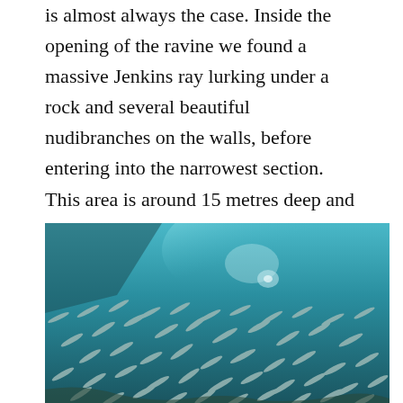is almost always the case. Inside the opening of the ravine we found a massive Jenkins ray lurking under a rock and several beautiful nudibranches on the walls, before entering into the narrowest section. This area is around 15 metres deep and the light filters through from above, framed by the canyon's wall and home to an vast school of fish – absolutely breathtaking.
[Figure (photo): Underwater photograph showing a large school of fish in blue-green water, viewed from below. The fish appear as elongated silver shapes densely packed, filling much of the frame. The water is a deep teal/turquoise colour with light filtering from above.]